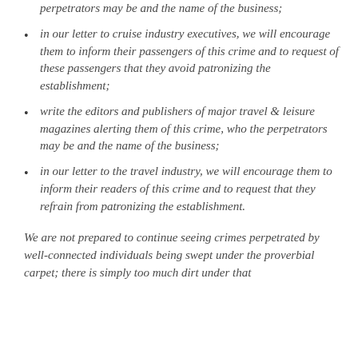perpetrators may be and the name of the business;
in our letter to cruise industry executives, we will encourage them to inform their passengers of this crime and to request of these passengers that they avoid patronizing the establishment;
write the editors and publishers of major travel & leisure magazines alerting them of this crime, who the perpetrators may be and the name of the business;
in our letter to the travel industry, we will encourage them to inform their readers of this crime and to request that they refrain from patronizing the establishment.
We are not prepared to continue seeing crimes perpetrated by well-connected individuals being swept under the proverbial carpet; there is simply too much dirt under that